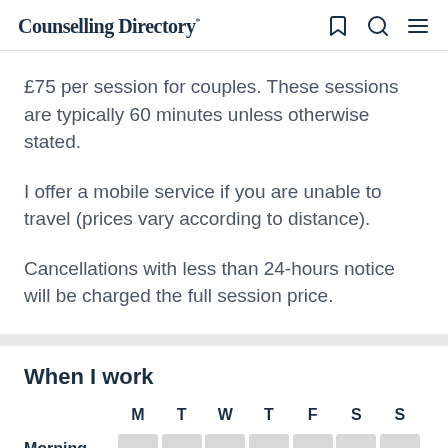Counselling Directory
£75 per session for couples. These sessions are typically 60 minutes unless otherwise stated.
I offer a mobile service if you are unable to travel (prices vary according to distance).
Cancellations with less than 24-hours notice will be charged the full session price.
When I work
|  | M | T | W | T | F | S | S |
| --- | --- | --- | --- | --- | --- | --- | --- |
| Morning |  |  |  |  |  |  |  |